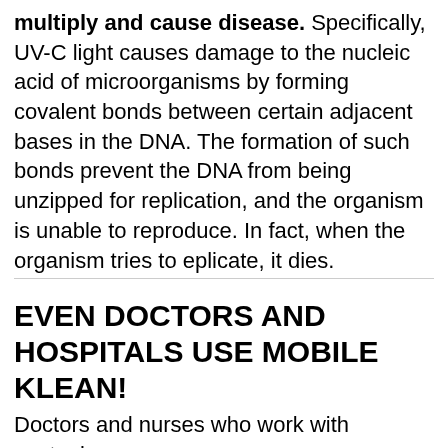multiply and cause disease. Specifically, UV-C light causes damage to the nucleic acid of microorganisms by forming covalent bonds between certain adjacent bases in the DNA. The formation of such bonds prevent the DNA from being unzipped for replication, and the organism is unable to reproduce. In fact, when the organism tries to eplicate, it dies.
EVEN DOCTORS AND HOSPITALS USE MOBILE KLEAN!
Doctors and nurses who work with contagious